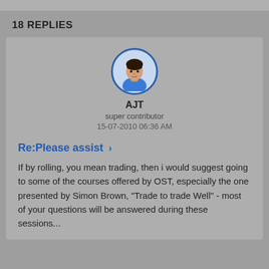18 REPLIES
[Figure (illustration): Avatar of user AJT - cartoon person with dark hair and blue shirt in a circular frame with blue border]
AJT
super contributor
15-07-2010 06:36 AM
Re:Please assist ›
If by rolling, you mean trading, then i would suggest going to some of the courses offered by OST, especially the one presented by Simon Brown, "Trade to trade Well" - most of your questions will be answered during these sessions...